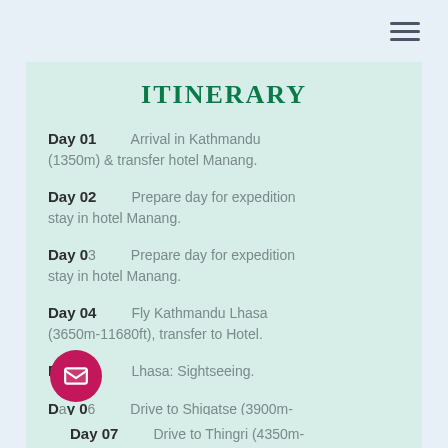ITINERARY
Day 01   Arrival in Kathmandu (1350m) & transfer hotel Manang.
Day 02   Prepare day for expedition stay in hotel Manang.
Day 03   Prepare day for expedition stay in hotel Manang.
Day 04   Fly Kathmandu Lhasa (3650m-11680ft), transfer to Hotel.
Day 05   Lhasa: Sightseeing.
Day 06   Drive to Shigatse (3900m-[...]t)- O/N Hotel.
Day 07   Drive to Thingri (4350m-